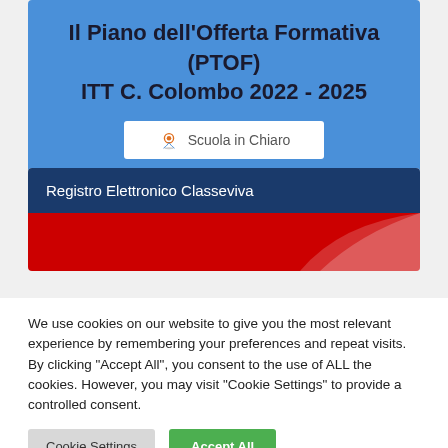Il Piano dell'Offerta Formativa (PTOF) ITT C. Colombo 2022 - 2025
[Figure (logo): Scuola in Chiaro badge with location pin icon]
Registro Elettronico Classeviva
[Figure (screenshot): Red banner with white curve/swoosh design for Classeviva]
We use cookies on our website to give you the most relevant experience by remembering your preferences and repeat visits. By clicking "Accept All", you consent to the use of ALL the cookies. However, you may visit "Cookie Settings" to provide a controlled consent.